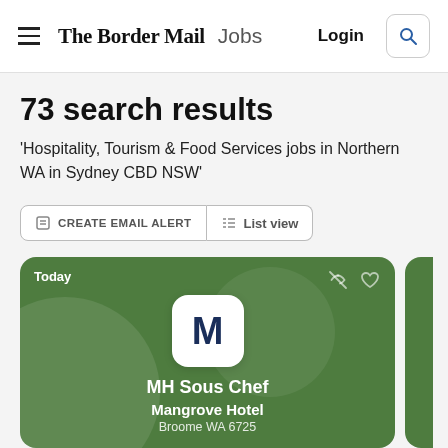The Border Mail Jobs  Login
73 search results
'Hospitality, Tourism & Food Services jobs in Northern WA in Sydney CBD NSW'
CREATE EMAIL ALERT
List view
[Figure (screenshot): Job listing card with green background showing MH Sous Chef position at Mangrove Hotel, Broome WA 6725, with a white M logo tile, Today label, eye and heart icons]
MH Sous Chef
Mangrove Hotel
Broome WA 6725